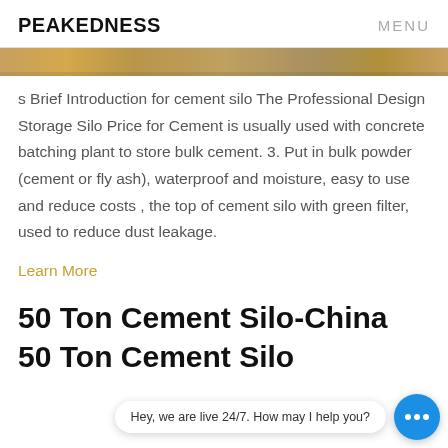PEAKEDNESS   MENU
[Figure (photo): Partial image of cement silos or industrial equipment, shown as a colored strip at the top of the content area]
s Brief Introduction for cement silo The Professional Design Storage Silo Price for Cement is usually used with concrete batching plant to store bulk cement. 3. Put in bulk powder (cement or fly ash), waterproof and moisture, easy to use and reduce costs , the top of cement silo with green filter, used to reduce dust leakage.
Learn More
50 Ton Cement Silo-China 50 Ton Cement Silo